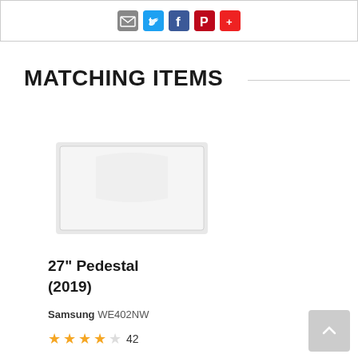[Figure (screenshot): Social sharing icons: email (grey), Twitter (blue), Facebook (blue), Pinterest (red), and another red icon in a bordered box]
MATCHING ITEMS
[Figure (photo): White Samsung 27-inch pedestal appliance, a white rectangular product with subtle raised center detail]
27" Pedestal (2019)
Samsung WE402NW
42 (star rating: 4 out of 5 stars)